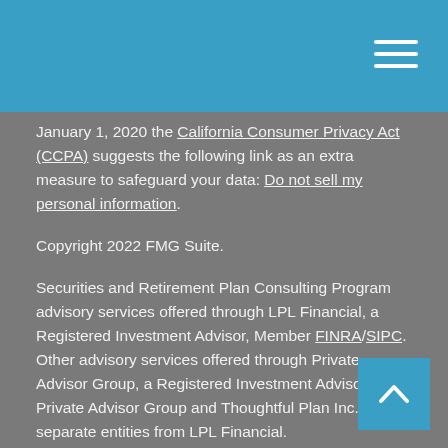January 1, 2020 the California Consumer Privacy Act (CCPA) suggests the following link as an extra measure to safeguard your data: Do not sell my personal information.
Copyright 2022 FMG Suite.
Securities and Retirement Plan Consulting Program advisory services offered through LPL Financial, a Registered Investment Advisor, Member FINRA/SIPC. Other advisory services offered through Private Advisor Group, a Registered Investment Advisor. Private Advisor Group and Thoughtful Plan Inc. are separate entities from LPL Financial.
The LPL Financial representative associated with this website may discuss and/or transact securities business only with residents of the following states: California, Colorado, Connecticut, Florida, North Carolina, New York or Pennsylvania.